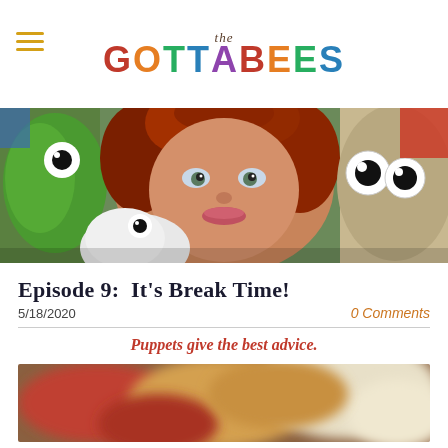the GOTTABEES
[Figure (photo): Woman with curly red hair surrounded by colorful puppets/plush characters including a green puppet, white fluffy puppet, and a grey/tan fuzzy puppet with googly eyes]
Episode 9:  It's Break Time!
5/18/2020
0 Comments
Puppets give the best advice.
[Figure (photo): Blurred close-up photo showing warm tones of red, gold, and white - appears to be puppets or characters in soft focus]